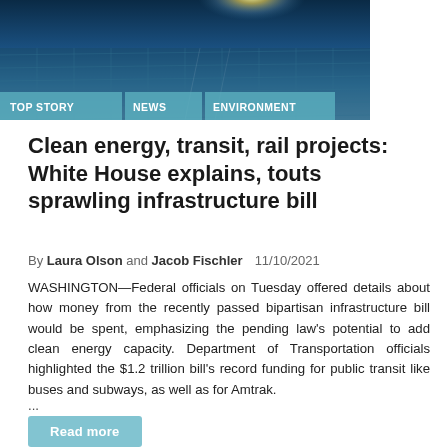[Figure (photo): Solar panels with sunlight glare from above, with category tags overlaid at the bottom: TOP STORY, NEWS, ENVIRONMENT]
Clean energy, transit, rail projects: White House explains, touts sprawling infrastructure bill
By Laura Olson and Jacob Fischler  11/10/2021
WASHINGTON—Federal officials on Tuesday offered details about how money from the recently passed bipartisan infrastructure bill would be spent, emphasizing the pending law's potential to add clean energy capacity. Department of Transportation officials highlighted the $1.2 trillion bill's record funding for public transit like buses and subways, as well as for Amtrak.
...
Read more